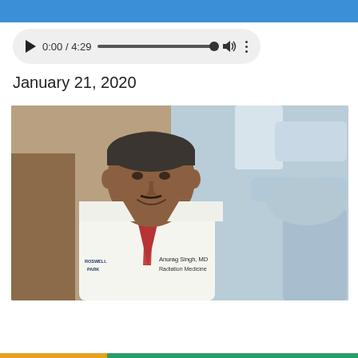[Figure (screenshot): Audio player widget showing 0:00 / 4:29 with play button, progress bar, volume icon, and menu dots on a light gray rounded rectangle background]
January 21, 2020
[Figure (photo): Dr. Anurag Singh, MD, Radiation Medicine, wearing a white lab coat with Roswell Park logo and a red tie, smiling, standing in front of medical radiation equipment]